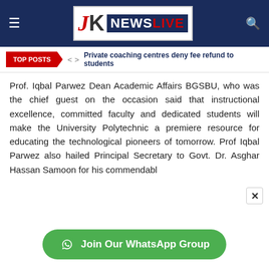JK NEWS LIVE
TOP POSTS  < >  Private coaching centres deny fee refund to students
Prof. Iqbal Parwez Dean Academic Affairs BGSBU, who was the chief guest on the occasion said that instructional excellence, committed faculty and dedicated students will make the University Polytechnic a premiere resource for educating the technological pioneers of tomorrow. Prof Iqbal Parwez also hailed Principal Secretary to Govt. Dr. Asghar Hassan Samoon for his commendabl
Join Our WhatsApp Group